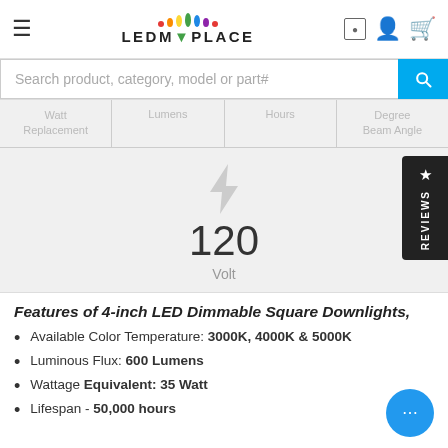LEDMYPLACE
Search product, category, model or part#
| Watt Replacement | Lumens | Hours | Degree Beam Angle |
| --- | --- | --- | --- |
[Figure (infographic): Lightning bolt icon with voltage value 120 Volt]
Features of 4-inch LED Dimmable Square Downlights
Available Color Temperature: 3000K, 4000K & 5000K
Luminous Flux: 600 Lumens
Wattage Equivalent: 35 Watt
Lifespan - 50,000 hours